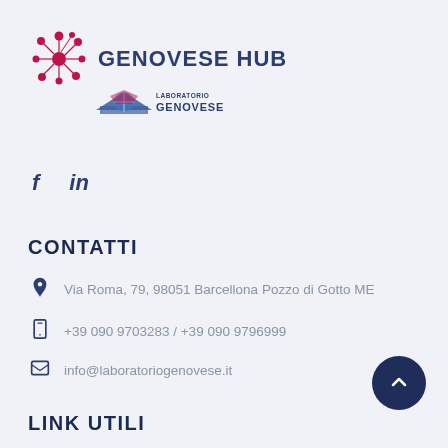[Figure (logo): Genovese Hub logo with red molecular/globe icon and 'GENOVESE HUB' text, plus Laboratorio Genovese sub-logo with blue/pink hat graphic]
f   in
CONTATTI
Via Roma, 79, 98051 Barcellona Pozzo di Gotto ME
+39 090 9703283 / +39 090 9796999
info@laboratoriogenovese.it
LINK UTILI